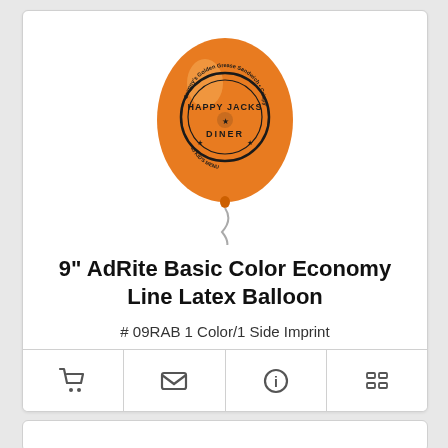[Figure (photo): Orange latex balloon with a printed Happy Jacks Diner logo in black, with a curled white string hanging below.]
9" AdRite Basic Color Economy Line Latex Balloon
# 09RAB 1 Color/1 Side Imprint
5 day production time
$015 - $0.41 | Min Qty 200